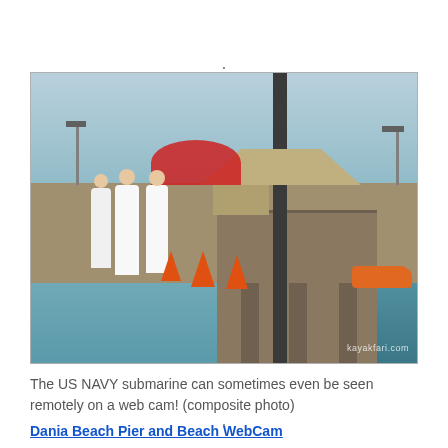[Figure (photo): Composite photo of the Dania Beach Pier showing US Navy personnel in white uniforms walking on the pier, with traffic cones, an umbrella, a gazebo-style structure, and a US Navy submarine visible in the background on the water. Watermark: kayakfari.com]
The US NAVY submarine can sometimes even be seen remotely on a web cam! (composite photo)
Dania Beach Pier and Beach WebCam